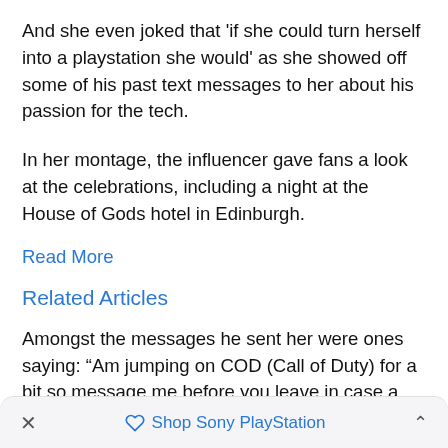And she even joked that 'if she could turn herself into a playstation she would' as she showed off some of his past text messages to her about his passion for the tech.
In her montage, the influencer gave fans a look at the celebrations, including a night at the House of Gods hotel in Edinburgh.
Read More
Related Articles
Amongst the messages he sent her were ones saying: “Am jumping on COD (Call of Duty) for a bit so message me before you leave in case a can’t hear the door.”
Shop Sony PlayStation